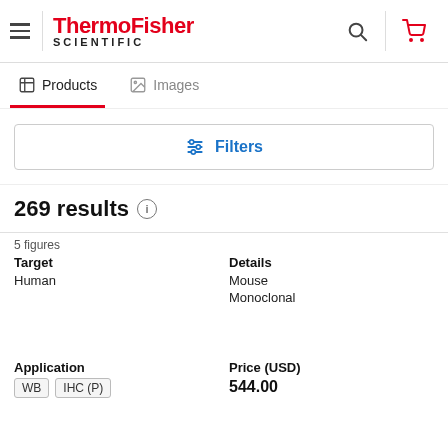[Figure (logo): ThermoFisher Scientific logo with hamburger menu, search icon, and cart icon]
Products  Images
Filters
269 results
5 figures
| Target | Details |
| --- | --- |
| Human | Mouse
Monoclonal |
| Application | Price (USD) |
| --- | --- |
| WB  IHC (P) | 544.00 |